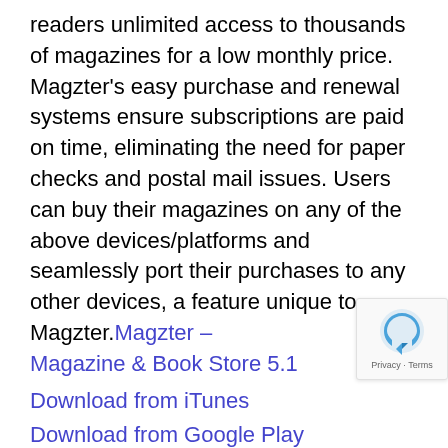readers unlimited access to thousands of magazines for a low monthly price. Magzter's easy purchase and renewal systems ensure subscriptions are paid on time, eliminating the need for paper checks and postal mail issues. Users can buy their magazines on any of the above devices/platforms and seamlessly port their purchases to any other devices, a feature unique to Magzter.
Magzter – Magazine & Book Store 5.1
Download from iTunes
Download from Google Play
Magzter Special Offers
Screenshot
App Icon
Magzter is the world's largest and fastest growing global digital magazine newsstand with over 27 million digital consumers, more than 7,000 magazines, thousands of books from over 3,000 publishers. Headquartered in New York, Magzter has its local offices in